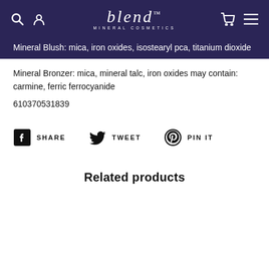blend MINERAL COSMETICS
Mineral Blush: mica, iron oxides, isostearyl pca, titanium dioxide
Mineral Bronzer: mica, mineral talc, iron oxides may contain: carmine, ferric ferrocyanide
610370531839
SHARE  TWEET  PIN IT
Related products